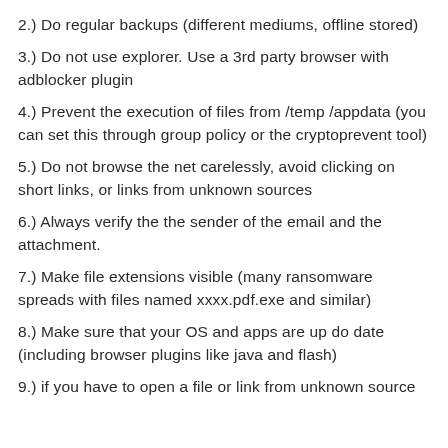2.) Do regular backups (different mediums, offline stored)
3.) Do not use explorer. Use a 3rd party browser with adblocker plugin
4.) Prevent the execution of files from /temp /appdata (you can set this through group policy or the cryptoprevent tool)
5.) Do not browse the net carelessly, avoid clicking on short links, or links from unknown sources
6.) Always verify the the sender of the email and the attachment.
7.) Make file extensions visible (many ransomware spreads with files named xxxx.pdf.exe and similar)
8.) Make sure that your OS and apps are up do date (including browser plugins like java and flash)
9.) if you have to open a file or link from unknown source